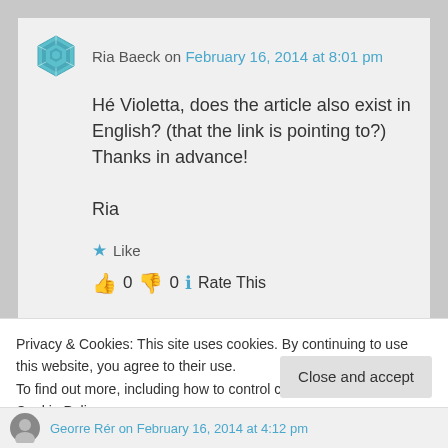Ria Baeck on February 16, 2014 at 8:01 pm
Hé Violetta, does the article also exist in English? (that the link is pointing to?) Thanks in advance!

Ria
★ Like
👍 0 👎 0 ℹ Rate This
Log in to Reply
Privacy & Cookies: This site uses cookies. By continuing to use this website, you agree to their use.
To find out more, including how to control cookies, see here: Cookie Policy
Close and accept
Georre Rér on February 16, 2014 at 4:12 pm